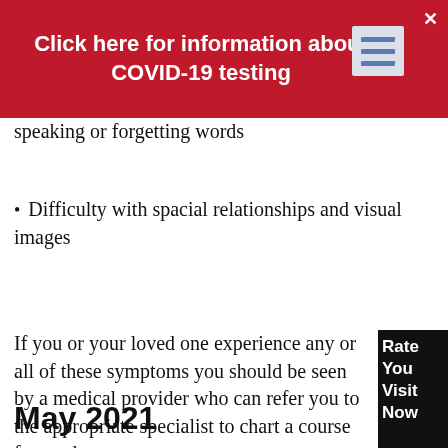[Figure (screenshot): Red banner with white bold text 'Click here for information about COVID-19 testing', with a close X button and a hamburger menu icon on the right]
speaking or forgetting words
Difficulty with spacial relationships and visual images
If you or your loved one experience any or all of these symptoms you should be seen by a medical provider who can refer you to the appropriate specialist to chart a course forward.
[Figure (other): Black box with white text partially visible: Rate You Visiti Now]
May 2021